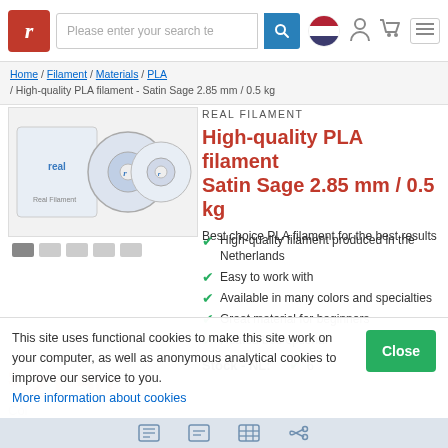Please enter your search te [search bar with icons]
Home / Filament / Materials / PLA / High-quality PLA filament - Satin Sage 2.85 mm / 0.5 kg
[Figure (photo): Two spools of Real Filament PLA filament with the Real Filament logo, shown in product packaging thumbnail with image carousel dots below.]
REAL FILAMENT
High-quality PLA filament Satin Sage 2.85 mm / 0.5 kg
Best choice PLA filament for the best results
High-quality filament produced in the Netherlands
Easy to work with
Available in many colors and specialties
Great material for beginners
Heated bed optional
Stock - NL:  ✔ 6
$ 21.50
This site uses functional cookies to make this site work on your computer, as well as anonymous analytical cookies to improve our service to you. More information about cookies
Close